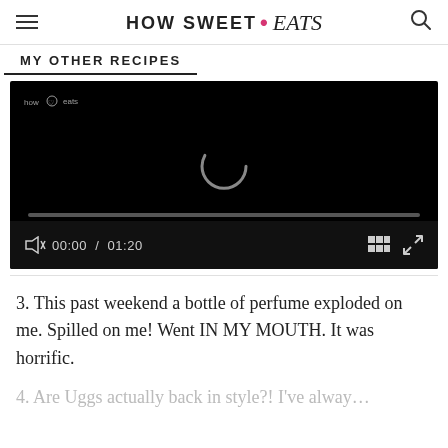HOW SWEET • eats
MY OTHER RECIPES
[Figure (screenshot): Embedded video player with black background, loading spinner, progress bar, and video controls showing 00:00 / 01:20 with mute and fullscreen buttons.]
3. This past weekend a bottle of perfume exploded on me. Spilled on me! Went IN MY MOUTH. It was horrific.
4. Are Uggs actually back in style?! I've alway…